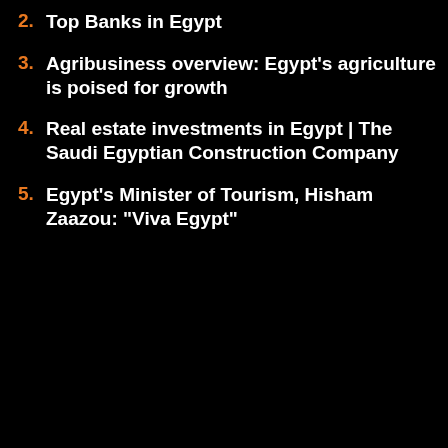2. Top Banks in Egypt
3. Agribusiness overview: Egypt's agriculture is poised for growth
4. Real estate investments in Egypt | The Saudi Egyptian Construction Company
5. Egypt's Minister of Tourism, Hisham Zaazou: "Viva Egypt"